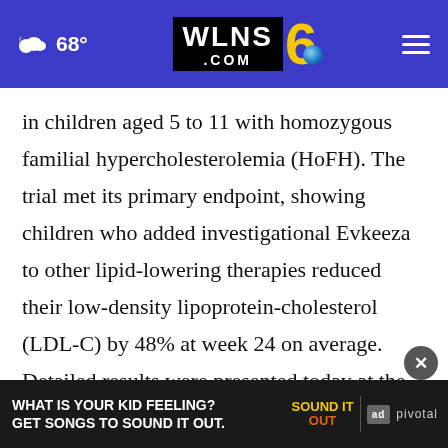68° WLNS6.COM
in children aged 5 to 11 with homozygous familial hypercholesterolemia (HoFH). The trial met its primary endpoint, showing children who added investigational Evkeeza to other lipid-lowering therapies reduced their low-density lipoprotein-cholesterol (LDL-C) by 48% at week 24 on average. Detailed results were presented today at the 5th European Atherosclerosis Society Pediatric Familial Hypercholesterolemia form the basis of a regulatory submission to the U.S.
[Figure (screenshot): Advertisement banner: WHAT IS YOUR KID FEELING? GET SONGS TO SOUND IT OUT. Sound It Out ad with Ad Council and Pivotal logos.]